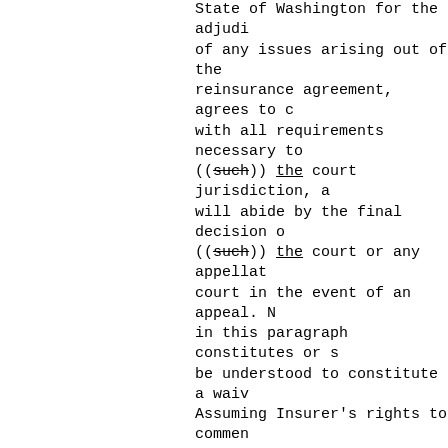State of Washington for the adjudication of any issues arising out of the reinsurance agreement, agrees to comply with all requirements necessary to ((such)) the court jurisdiction, and will abide by the final decision of ((such)) the court or any appellate court in the event of an appeal. Nothing in this paragraph constitutes or shall be understood to constitute a waiver. Assuming Insurer's rights to commence an action in any court of competent jurisdiction in the United States, remove an action to a United States District Court, or to seek a transfer of a case to another court as permitted by the laws of the United States or of any state in the United States. This paragraph is not intended to conflict with or override the obligation of the parties to the reinsurance agreement to arbitrate their disputes if ((such the obligation is created in the agreement.
2. Designates the Insurance Commissioner of the State of Washington as its lawful attorney upon whom may be served any lawful process in any action, suit, or proceeding arising out of the reinsurance agreement instituted by